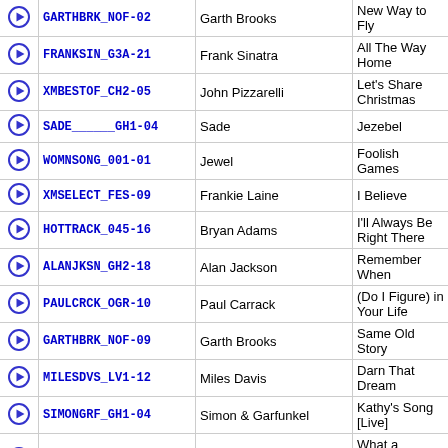|  | Code | Artist | Song |
| --- | --- | --- | --- |
| ▶ | GARTHBRK_NOF-02 | Garth Brooks | New Way to Fly |
| ▶ | FRANKSIN_G3A-21 | Frank Sinatra | All The Way Home |
| ▶ | XMBESTOF_CH2-05 | John Pizzarelli | Let's Share Christmas |
| ▶ | SADE______GH1-04 | Sade | Jezebel |
| ▶ | WOMNSONG_001-01 | Jewel | Foolish Games |
| ▶ | XMSELECT_FES-09 | Frankie Laine | I Believe |
| ▶ | HOTTRACK_045-16 | Bryan Adams | I'll Always Be Right There |
| ▶ | ALANJKSN_GH2-18 | Alan Jackson | Remember When |
| ▶ | PAULCRCK_OGR-10 | Paul Carrack | (Do I Figure) in Your Life |
| ▶ | GARTHBRK_NOF-09 | Garth Brooks | Same Old Story |
| ▶ | MILESDVS_LV1-12 | Miles Davis | Darn That Dream |
| ▶ | SIMONGRF_GH1-04 | Simon & Garfunkel | Kathy's Song [Live] |
| ▶ | POWERTRK_010-02 | Louis Armstrong | What a Wonderful World |
| ▶ | GARTHBRK_GH1-08 | Garth Brooks | If Tomorrow Never Comes |
| ▶ | HOTTROCK_024-16 | Fiona Apple | Never Is a Promise |
| ▶ | GARTHBRK_NOF-11 | Garth Brooks | Wolves |
| ▶ | TOMWAITS_MLV-11 | Tom Waits | Picture In A Frame |
| ▶ | DTRANDOM_032-13 | Paul Anka | My Way |
| ▶ | HOLYCOLE_TMP-13 | Holly Cole | Soldier's Things |
| ▶ | POWERTRK_100-01 | Bing Crosby | White Christmas |
| ▶ | POWERTRK_011-07 | Barbra Streisand | Evergreen |
| ▶ | POWERTRK_033-05 | Commodores | Three Times a Lady |